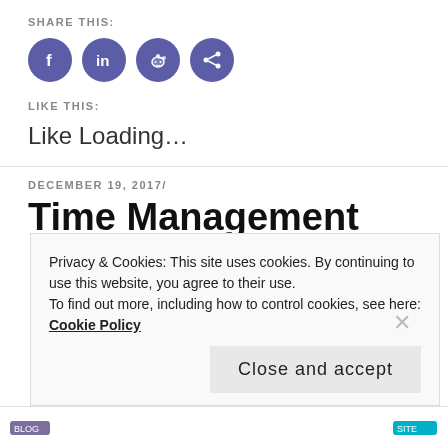SHARE THIS:
[Figure (illustration): Four circular purple social sharing icons: Facebook, LinkedIn, Reddit, and a generic share icon]
LIKE THIS:
Like Loading...
DECEMBER 19, 2017/
Time Management
Privacy & Cookies: This site uses cookies. By continuing to use this website, you agree to their use.
To find out more, including how to control cookies, see here: Cookie Policy
Close and accept